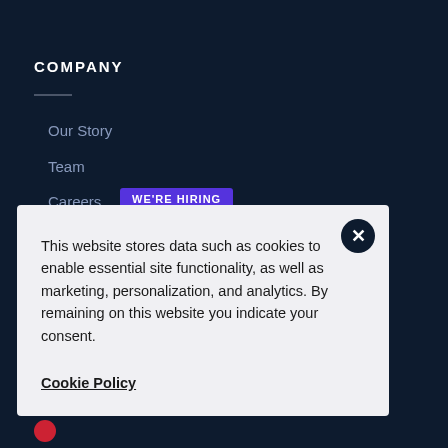COMPANY
Our Story
Team
Careers
WE'RE HIRING
This website stores data such as cookies to enable essential site functionality, as well as marketing, personalization, and analytics. By remaining on this website you indicate your consent.
Cookie Policy